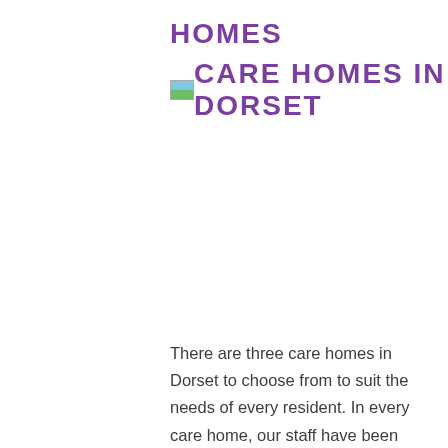HOMES
CARE HOMES IN DORSET
There are three care homes in Dorset to choose from to suit the needs of every resident. In every care home, our staff have been highly trained to support our residents throughout their stay. Dementia sufferers in our homes can expect every member of our team to be friendly and warm during every interaction; they will also offer a sympathetic